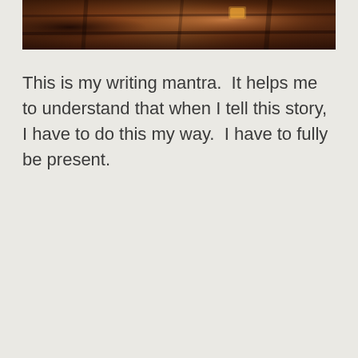[Figure (photo): Partial photo of dark wooden objects or logs with warm amber/brown tones, cropped at the top of the page]
This is my writing mantra.  It helps me to understand that when I tell this story, I have to do this my way.  I have to fully be present.